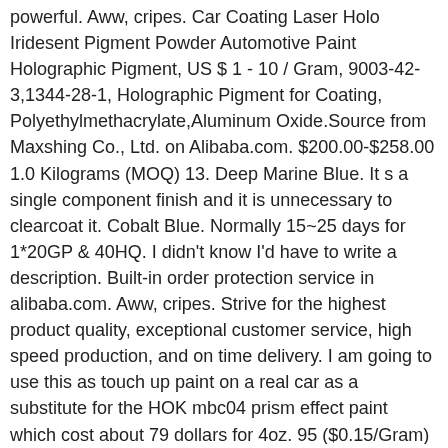powerful. Aww, cripes. Car Coating Laser Holo Iridesent Pigment Powder Automotive Paint Holographic Pigment, US $ 1 - 10 / Gram, 9003-42-3,1344-28-1, Holographic Pigment for Coating, Polyethylmethacrylate,Aluminum Oxide.Source from Maxshing Co., Ltd. on Alibaba.com. $200.00-$258.00 1.0 Kilograms (MOQ) 13. Deep Marine Blue. It s a single component finish and it is unnecessary to clearcoat it. Cobalt Blue. Normally 15~25 days for 1*20GP & 40HQ. I didn't know I'd have to write a description. Built-in order protection service in alibaba.com. Aww, cripes. Strive for the highest product quality, exceptional customer service, high speed production, and on time delivery. I am going to use this as touch up paint on a real car as a substitute for the HOK mbc04 prism effect paint which cost about 79 dollars for 4oz. 95 ($0.15/Gram) Get it as soon as Tomorrow, Jan 22. Hologram-like defect in automotive paint (AKA holographic buffing tails) 2003. Soooo, yeah. $14.95 $ 14. car wrap applying auto auto detailing automotive car tuning car wrapping chameleon chameleon paint close-up color design detail expensive eye-catching film